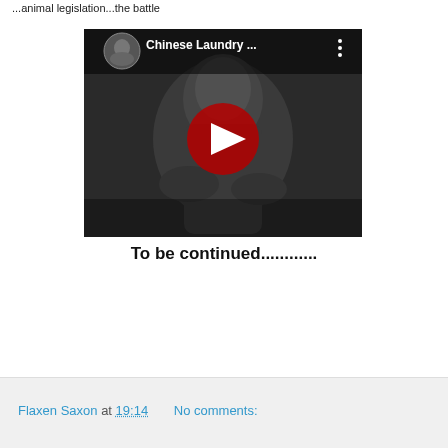...animal legislation...the battle
[Figure (screenshot): YouTube video thumbnail showing 'Chinese Laundry ...' with a black and white image of a man smiling, with a red play button in the center]
To be continued............
Flaxen Saxon at 19:14    No comments: